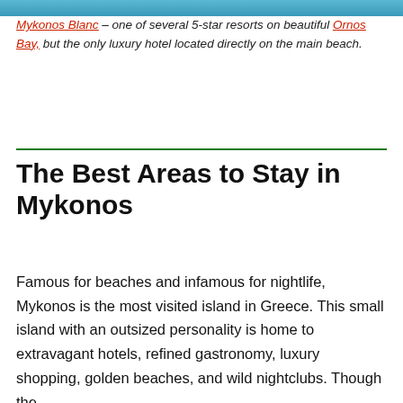[Figure (photo): Top strip of a photo, likely showing a beach or coastal resort scene in Mykonos]
Mykonos Blanc – one of several 5-star resorts on beautiful Ornos Bay, but the only luxury hotel located directly on the main beach.
The Best Areas to Stay in Mykonos
Famous for beaches and infamous for nightlife, Mykonos is the most visited island in Greece. This small island with an outsized personality is home to extravagant hotels, refined gastronomy, luxury shopping, golden beaches, and wild nightclubs. Though the